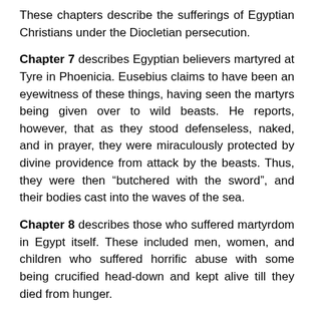These chapters describe the sufferings of Egyptian Christians under the Diocletian persecution.
Chapter 7 describes Egyptian believers martyred at Tyre in Phoenicia. Eusebius claims to have been an eyewitness of these things, having seen the martyrs being given over to wild beasts. He reports, however, that as they stood defenseless, naked, and in prayer, they were miraculously protected by divine providence from attack by the beasts. Thus, they were then “butchered with the sword”, and their bodies cast into the waves of the sea.
Chapter 8 describes those who suffered martyrdom in Egypt itself. These included men, women, and children who suffered horrific abuse with some being crucified head-down and kept alive till they died from hunger.
Chapter 9 describe the martyrs of Thebais, an Egyptian province, which included the capital city of